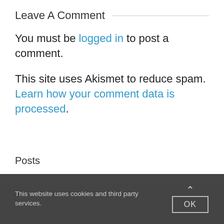Leave A Comment
You must be logged in to post a comment.
This site uses Akismet to reduce spam. Learn how your comment data is processed.
Posts
This website uses cookies and third party services.